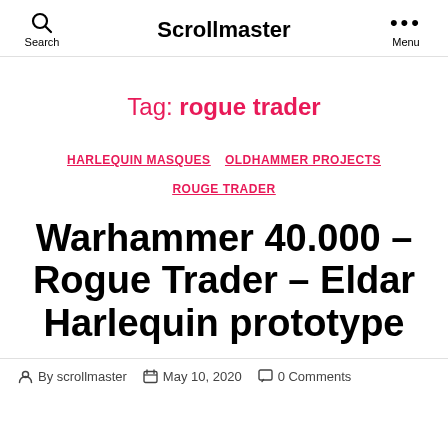Search  Scrollmaster  ••• Menu
Tag: rogue trader
HARLEQUIN MASQUES  OLDHAMMER PROJECTS  ROUGE TRADER
Warhammer 40.000 – Rogue Trader – Eldar Harlequin prototype
By scrollmaster  May 10, 2020  0 Comments